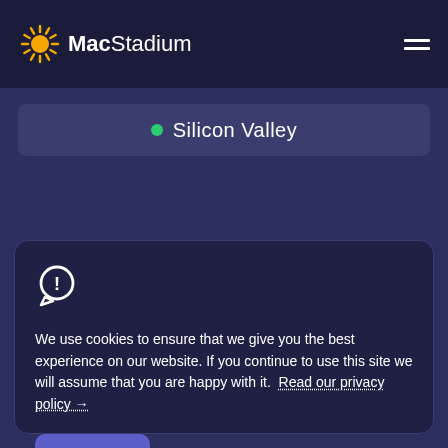MacStadium
Silicon Valley
We use cookies to ensure that we give you the best experience on our website. If you continue to use this site we will assume that you are happy with it. Read our privacy policy →
OK ✓